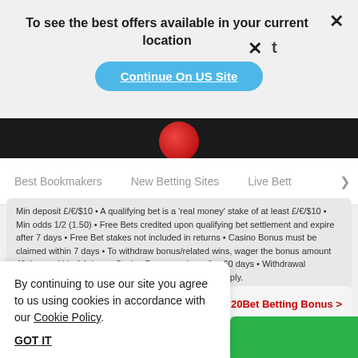To see the best offers available in your current location
Continue On US Site
Best Bookmakers   New Betting Sites   Live Bett >
Min deposit £/€/$10 • A qualifying bet is a 'real money' stake of at least £/€/$10 • Min odds 1/2 (1.50) • Free Bets credited upon qualifying bet settlement and expire after 7 days • Free Bet stakes not included in returns • Casino Bonus must be claimed within 7 days • To withdraw bonus/related wins, wager the bonus amount 40 times within 14 days • Casino Bonus expires after 60 days • Withdrawal restrictions, payment methods, country & Full T&C's apply.
2
20Bet Betting Bonus >
100% up to 100€ for your
By continuing to use our site you agree to us using cookies in accordance with our Cookie Policy.
GOT IT